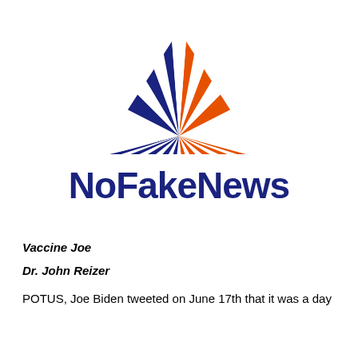[Figure (logo): NoFakeNews logo: a triangular sunburst shape split into blue (left) and orange (right) halves with white rays, above the text 'NoFakeNews' in dark navy blue bold font]
Vaccine Joe
Dr. John Reizer
POTUS, Joe Biden tweeted on June 17th that it was a day